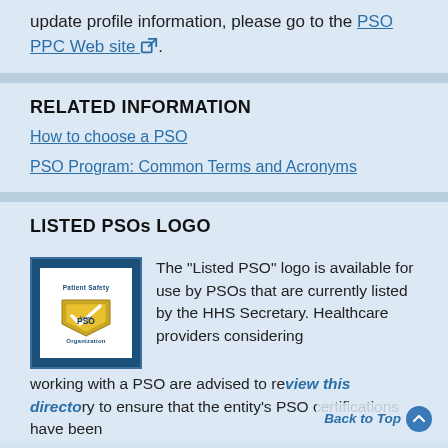update profile information, please go to the PSO PPC Web site.
RELATED INFORMATION
How to choose a PSO
PSO Program: Common Terms and Acronyms
LISTED PSOs LOGO
[Figure (logo): Listed PSO logo — Patient Safety Organization badge with gold checkmark and shield on blue background]
The "Listed PSO" logo is available for use by PSOs that are currently listed by the HHS Secretary. Healthcare providers considering working with a PSO are advised to review this directory to ensure that the entity's PSO certifications have been